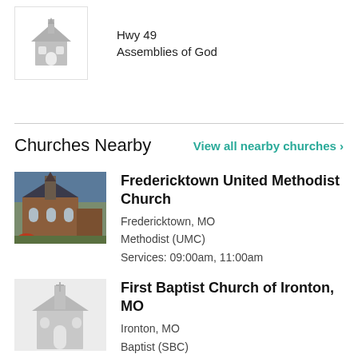[Figure (illustration): Gray church icon placeholder in a white bordered box]
Hwy 49
Assemblies of God
Churches Nearby
View all nearby churches >
[Figure (photo): Photo of Fredericktown United Methodist Church building, a brick church with bushes]
Fredericktown United Methodist Church
Fredericktown, MO
Methodist (UMC)
Services: 09:00am, 11:00am
[Figure (illustration): Gray church icon placeholder for First Baptist Church of Ironton, MO]
First Baptist Church of Ironton, MO
Ironton, MO
Baptist (SBC)